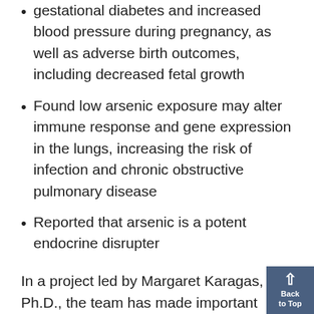gestational diabetes and increased blood pressure during pregnancy, as well as adverse birth outcomes, including decreased fetal growth
Found low arsenic exposure may alter immune response and gene expression in the lungs, increasing the risk of infection and chronic obstructive pulmonary disease
Reported that arsenic is a potent endocrine disrupter
In a project led by Margaret Karagas, Ph.D., the team has made important discoveries about how exposure to arsenic can harm human health. Leveraging their advances in measuring arsenic in water and characterizing exposure through biomarkers, the researchers were among the first to provide information linking individual survey...